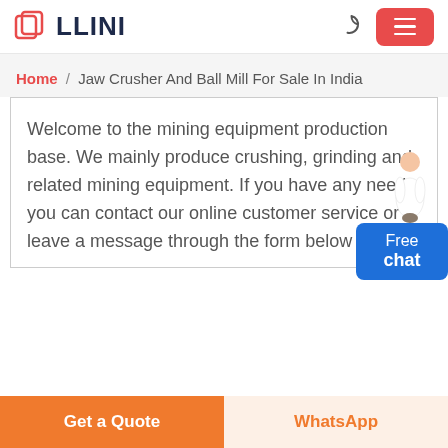LLINI
Home / Jaw Crusher And Ball Mill For Sale In India
Welcome to the mining equipment production base. We mainly produce crushing, grinding and related mining equipment. If you have any needs, you can contact our online customer service or leave a message through the form below.
Get a Quote
WhatsApp